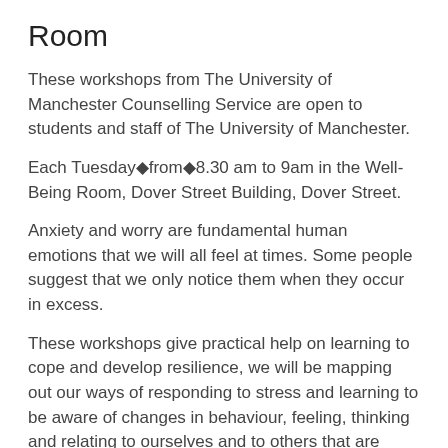Room
These workshops from The University of Manchester Counselling Service are open to students and staff of The University of Manchester.
Each Tuesday◆from◆8.30 am to 9am in the Well-Being Room, Dover Street Building, Dover Street.
Anxiety and worry are fundamental human emotions that we will all feel at times. Some people suggest that we only notice them when they occur in excess.
These workshops give practical help on learning to cope and develop resilience, we will be mapping out our ways of responding to stress and learning to be aware of changes in behaviour, feeling, thinking and relating to ourselves and to others that are more constructive and manageable.
What is involved in the workshops?